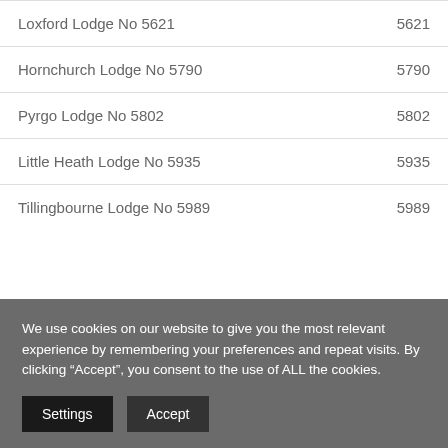| Lodge Name | Number |
| --- | --- |
| Loxford Lodge No 5621 | 5621 |
| Hornchurch Lodge No 5790 | 5790 |
| Pyrgo Lodge No 5802 | 5802 |
| Little Heath Lodge No 5935 | 5935 |
| Tillingbourne Lodge No 5989 | 5989 |
We use cookies on our website to give you the most relevant experience by remembering your preferences and repeat visits. By clicking “Accept”, you consent to the use of ALL the cookies.